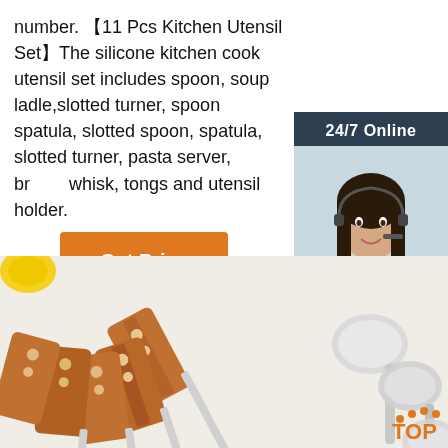number. 【11 Pcs Kitchen Utensil Set】The silicone kitchen cook utensil set includes spoon, soup ladle,slotted turner, spoon spatula, slotted spoon, spatula, slotted turner, pasta server, brush, whisk, tongs and utensil holder.
Get Price
[Figure (photo): Customer service representative sidebar with '24/7 Online' header, photo of woman with headset, 'Click here for free chat!' text, and orange QUOTATION button]
[Figure (photo): Kitchen utensils with wooden handles (spatulas/turners) and stainless steel spoons laid on white surface, with orange TOP badge in bottom right corner]